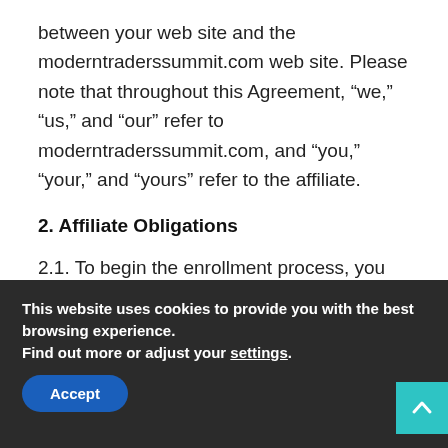between your web site and the moderntraderssummit.com web site. Please note that throughout this Agreement, “we,” “us,” and “our” refer to moderntraderssummit.com, and “you,” “your,” and “yours” refer to the affiliate.
2. Affiliate Obligations
2.1. To begin the enrollment process, you will complete and submit the online application. The fact that we auto-approve applications does not imply that we may not re-evaluate your application at a later time. We may
This website uses cookies to provide you with the best browsing experience.
Find out more or adjust your settings.
Accept